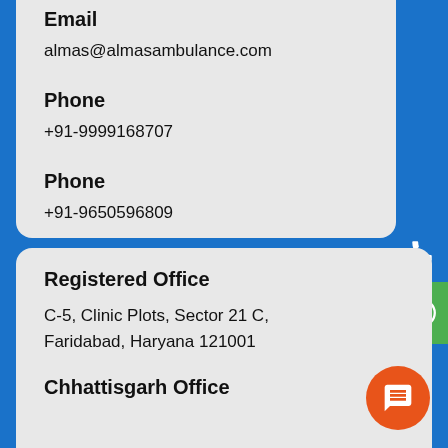Email
almas@almasambulance.com
Phone
+91-9999168707
Phone
+91-9650596809
Registered Office
C-5, Clinic Plots, Sector 21 C, Faridabad, Haryana 121001
Chhattisgarh Office